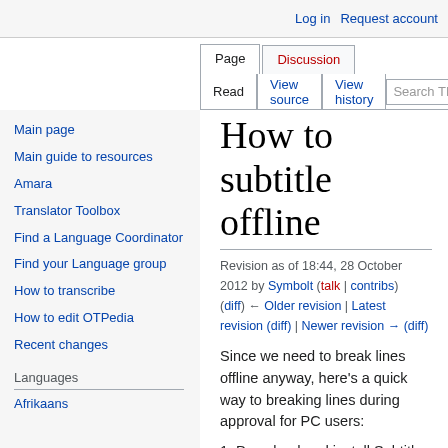Log in  Request account
Page  Discussion  Read  View source  View history  Search TED
How to subtitle offline
Revision as of 18:44, 28 October 2012 by Symbolt (talk | contribs)
(diff) ← Older revision | Latest revision (diff) | Newer revision → (diff)
Since we need to break lines offline anyway, here's a quick way to breaking lines during approval for PC users:
1. Download and install Subtitle Edit (http://www.nikse.dk/SubtitleEdit)
2. This, you only do once: go to Options/Settings. In the "General" tab, put "42" in "Single line max. length."
Main page
Main guide to resources
Amara
Translator Toolbox
Find a Language Coordinator
Find your Language group
How to transcribe
How to edit OTPedia
Recent changes
Languages
Afrikaans